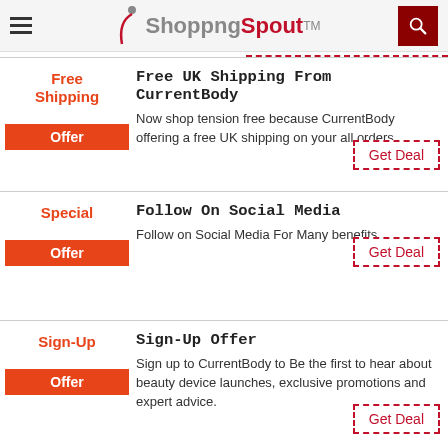ShoppingSpout TM
Free UK Shipping From CurrentBody
Now shop tension free because CurrentBody offering a free UK shipping on your all orders.
Follow On Social Media
Follow on Social Media For Many benefits.
Sign-Up Offer
Sign up to CurrentBody to Be the first to hear about beauty device launches, exclusive promotions and expert advice.